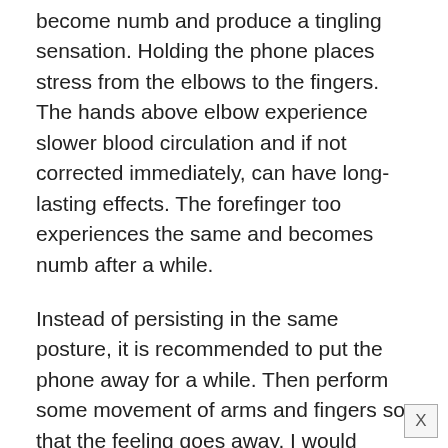become numb and produce a tingling sensation. Holding the phone places stress from the elbows to the fingers. The hands above elbow experience slower blood circulation and if not corrected immediately, can have long-lasting effects. The forefinger too experiences the same and becomes numb after a while.
Instead of persisting in the same posture, it is recommended to put the phone away for a while. Then perform some movement of arms and fingers so that the feeling goes away. I would advise keeping away the smartphone for at least one minute every fifteen minutes of